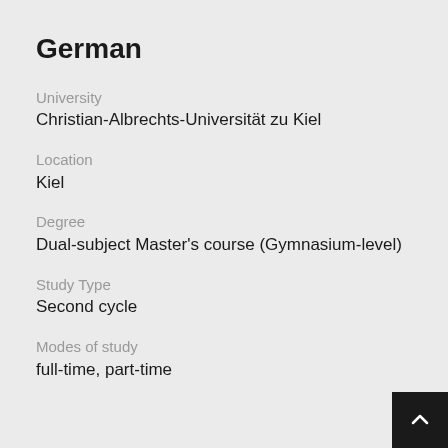German
University
Christian-Albrechts-Universität zu Kiel
Location
Kiel
Degree
Dual-subject Master's course (Gymnasium-level)
Study Type
Second cycle
Modes of study
full-time, part-time